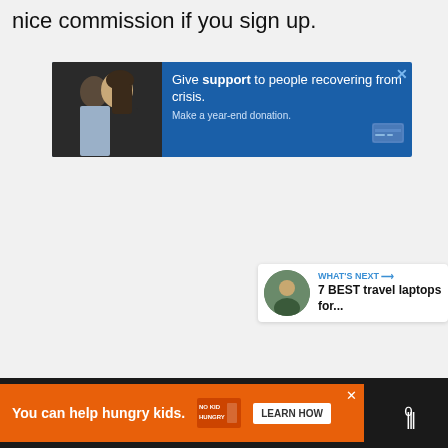nice commission if you sign up.
[Figure (screenshot): Blue donation advertisement banner for crisis support with a photo of two people and credit card icon. Text: 'Give support to people recovering from crisis. Make a year-end donation.']
[Figure (infographic): Floating heart/like button (blue circle with heart icon), count '1', and share button (white circle with share icon)]
[Figure (infographic): What's Next widget: thumbnail image of person, label 'WHAT'S NEXT ->' and title '7 BEST travel laptops for...']
[Figure (screenshot): Orange bottom advertisement bar on dark background. Text: 'You can help hungry kids.' with No Kid Hungry logo and 'LEARN HOW' button. Close X button and weather icon on right.]